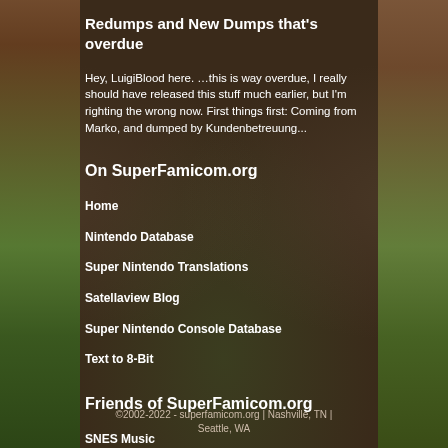Redumps and New Dumps that's overdue
Hey, LuigiBlood here. …this is way overdue, I really should have released this stuff much earlier, but I'm righting the wrong now. First things first: Coming from Marko, and dumped by Kundenbetreuung...
On SuperFamicom.org
Home
Nintendo Database
Super Nintendo Translations
Satellaview Blog
Super Nintendo Console Database
Text to 8-Bit
Friends of SuperFamicom.org
SNES Music
Prototype ROMs
BS-X Satellaview ROMs
Super Nintendo Development Wiki
Higan - Multi-Core Emulator
Open Emu - Game Emulation Mac
BS-X Project
MultiPatch - OS X Patcher
©2002-2022 - superfamicom.org | Nashville, TN | Seattle, WA